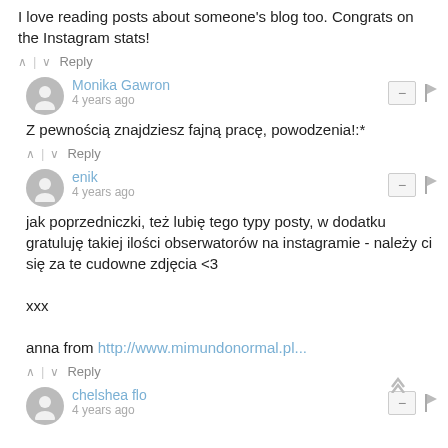I love reading posts about someone's blog too. Congrats on the Instagram stats!
^ | v Reply
Monika Gawron · 4 years ago
Z pewnością znajdziesz fajną pracę, powodzenia!:*
^ | v Reply
enik · 4 years ago
jak poprzedniczki, też lubię tego typy posty, w dodatku gratuluję takiej ilości obserwatorów na instagramie - należy ci się za te cudowne zdjęcia <3

xxx

anna from http://www.mimundonormal.pl...
^ | v Reply
chelshea flo · 4 years ago